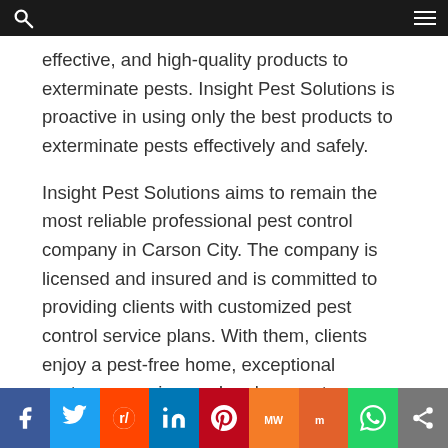effective, and high-quality products to exterminate pests. Insight Pest Solutions is proactive in using only the best products to exterminate pests effectively and safely.
Insight Pest Solutions aims to remain the most reliable professional pest control company in Carson City. The company is licensed and insured and is committed to providing clients with customized pest control service plans. With them, clients enjoy a pest-free home, exceptional customer service, and real guarantees.
Insight Pest Solutions provides top-notch pest control
f  Twitter  Reddit  in  Pinterest  MeWe  Mix  WhatsApp  Share